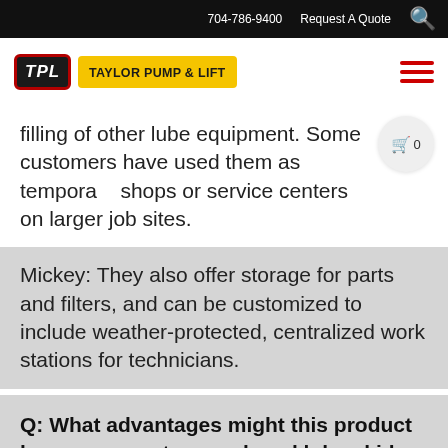704-786-9400   Request A Quote
[Figure (logo): Taylor Pump & Lift logo with TPL badge and yellow text box]
filling of other lube equipment. Some customers have used them as temporary shops or service centers on larger job sites.
Mickey: They also offer storage for parts and filters, and can be customized to include weather-protected, centralized work stations for technicians.
Q: What advantages might this product have vs. a custom enclosed lube skid or lube truck?